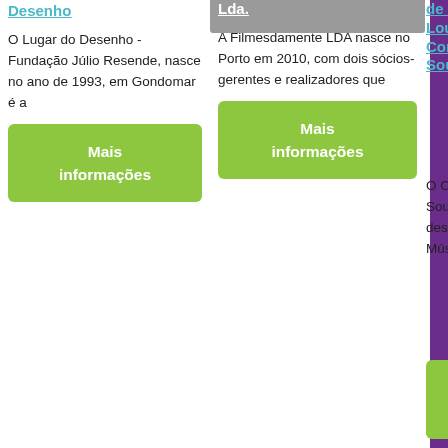Desenho
O Lugar do Desenho - Fundação Júlio Resende, nasce no ano de 1993, em Gondomar é a
Mais informações
Lda.
A Filmesdamente LDA nasce no Porto em 2010, com dois sócios-gerentes e realizadores que
Mais informações
de Cultura Musical de Lousada Conservatório do Vale do Sousa
O Conservatório do Vale do Sousa começou com a designação da Academia de Música de
Mais informações